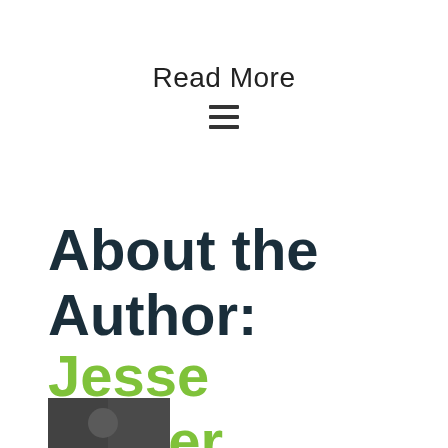Read More
[Figure (other): Hamburger menu icon (three horizontal lines)]
About the Author: Jesse Walter
[Figure (photo): Partial author photo visible at bottom of page]